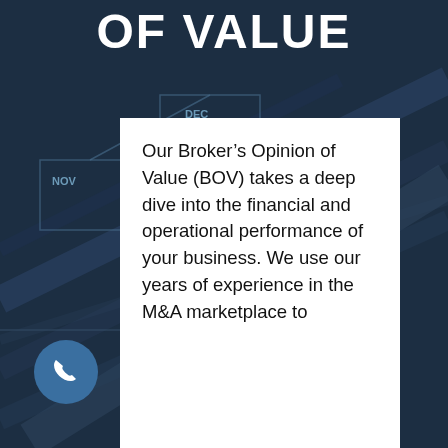OF VALUE
Our Broker’s Opinion of Value (BOV) takes a deep dive into the financial and operational performance of your business. We use our years of experience in the M&A marketplace to
[Figure (illustration): Dark navy blue background with diagonal lines resembling financial charts or circuit board traces, with a phone button icon in the lower left]